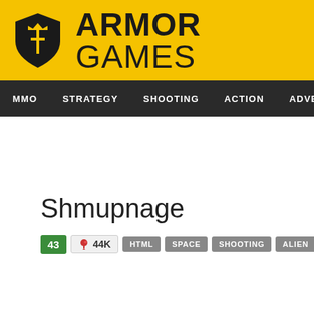ARMOR GAMES
MMO  STRATEGY  SHOOTING  ACTION  ADVENTURE  P
Shmupnage
43  44K  HTML  SPACE  SHOOTING  ALIEN  ARCADE